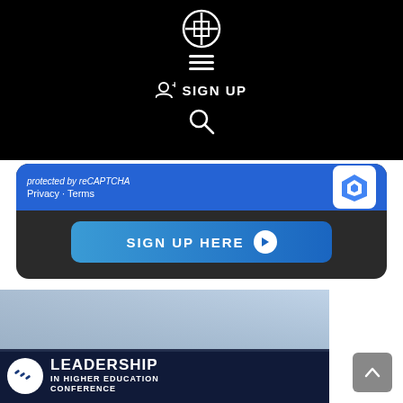[Figure (screenshot): Black navigation bar with white logo icon (grid/crosshair design), hamburger menu icon, SIGN UP button with person-plus icon, and search icon]
[Figure (screenshot): Dark rounded card with blue reCAPTCHA bar showing 'Privacy - Terms' and reCAPTCHA logo, and a blue 'SIGN UP HERE' button with arrow]
[Figure (photo): Leadership in Higher Education Conference banner with three business professionals walking, conference logo, and text overlay reading LEADERSHIP IN HIGHER EDUCATION CONFERENCE]
[Figure (screenshot): Grey back-to-top button with upward chevron arrow in bottom right corner]